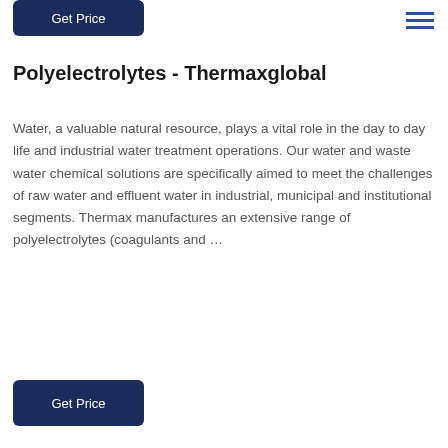[Figure (other): Get Price button (dark navy blue rounded rectangle) at top left]
[Figure (other): Hamburger menu icon (three horizontal dark blue lines) at top right]
Polyelectrolytes - Thermaxglobal
Water, a valuable natural resource, plays a vital role in the day to day life and industrial water treatment operations. Our water and waste water chemical solutions are specifically aimed to meet the challenges of raw water and effluent water in industrial, municipal and institutional segments. Thermax manufactures an extensive range of polyelectrolytes (coagulants and …
[Figure (other): Get Price button (dark navy blue rounded rectangle) at bottom left]